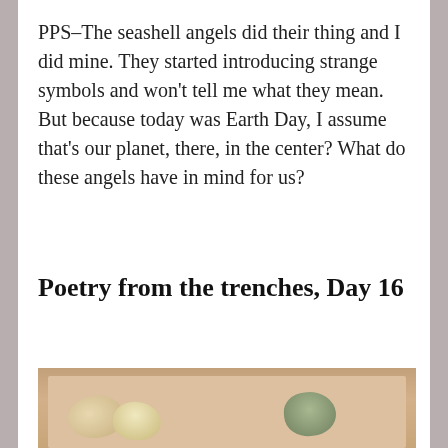PPS–The seashell angels did their thing and I did mine. They started introducing strange symbols and won't tell me what they mean. But because today was Earth Day, I assume that's our planet, there, in the center? What do these angels have in mind for us?
Poetry from the trenches, Day 16
[Figure (photo): A photograph showing seashells and rocks arranged on a pinkish-beige background. Two rounded light-colored shells or stones on the left side and a darker greenish shell or rock on the right side.]